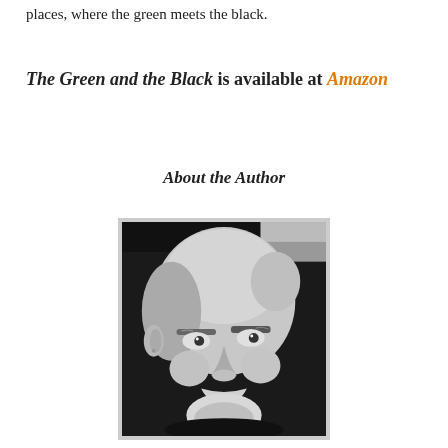places, where the green meets the black.
The Green and the Black is available at Amazon
About the Author
[Figure (photo): Black and white close-up photograph of an older bald man with white beard and mustache, looking slightly to the side.]